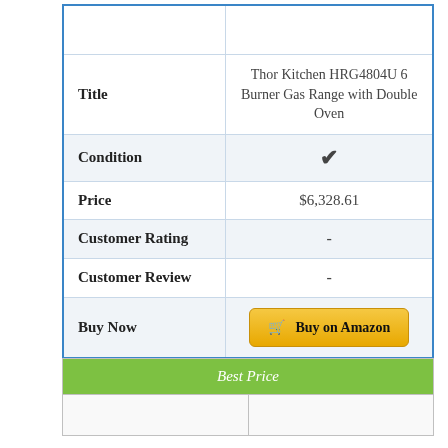|  |  |
| --- | --- |
|  |  |
| Title | Thor Kitchen HRG4804U 6 Burner Gas Range with Double Oven |
| Condition | ✓ |
| Price | $6,328.61 |
| Customer Rating | - |
| Customer Review | - |
| Buy Now | Buy on Amazon |
| Best Price |
| --- |
|  |  |